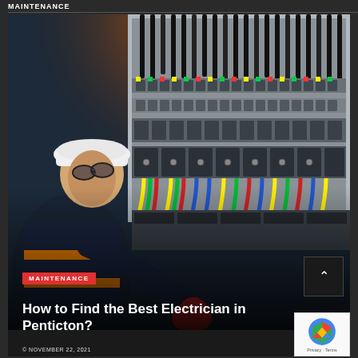MAINTENANCE
[Figure (photo): An electrician wearing a hard hat, safety glasses, and orange high-visibility vest working on a large industrial electrical panel with many colorful wires and circuit breakers. Warm orange light from above.]
MAINTENANCE
How to Find the Best Electrician in Penticton?
© NOVEMBER 22, 2021